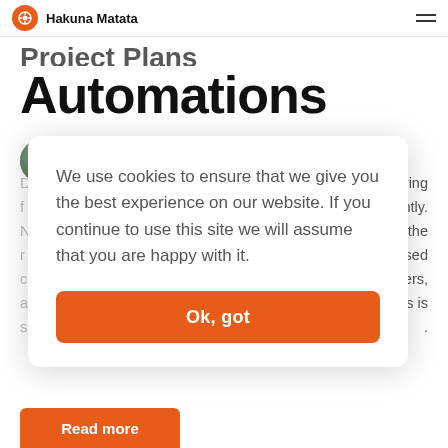Hakuna Matata
Automations
Gengarajan PV   July 28, 2022
We use cookies to ensure that we give you the best experience on our website. If you continue to use this site we will assume that you are happy with it.
Ok, got
Read more